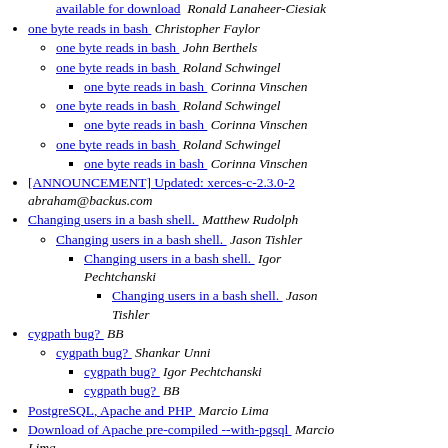available for download  Ronald Lanaheer-Ciesiak
one byte reads in bash  Christopher Faylor
one byte reads in bash  John Berthels
one byte reads in bash  Roland Schwingel
one byte reads in bash  Corinna Vinschen
one byte reads in bash  Roland Schwingel
one byte reads in bash  Corinna Vinschen
one byte reads in bash  Roland Schwingel
one byte reads in bash  Corinna Vinschen
[ANNOUNCEMENT] Updated: xerces-c-2.3.0-2  abraham@backus.com
Changing users in a bash shell.  Matthew Rudolph
Changing users in a bash shell.  Jason Tishler
Changing users in a bash shell.  Igor Pechtchanski
Changing users in a bash shell.  Jason Tishler
cygpath bug?  BB
cygpath bug?  Shankar Unni
cygpath bug?  Igor Pechtchanski
cygpath bug?  BB
PostgreSQL, Apache and PHP  Marcio Lima
Download of Apache pre-compiled --with-pgsql  Marcio Lima
Download of Apache pre-compiled --with-pgsql